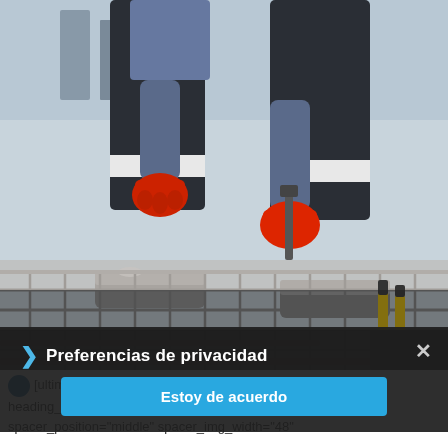[Figure (photo): Construction worker wearing red gloves and dark work clothes, kneeling on a steel reinforcement mesh grid on a concrete slab, using a tool to tie rebar. Yellow-handled tools visible in the background right.]
[Figure (screenshot): Cookie consent popup overlay with dark background. Shows 'Preferencias de privacidad' (Privacy Preferences) title with a right-pointing blue chevron, and a blue button labeled 'Estoy de acuerdo' (I agree). Close X button in top right corner.]
[ultimate_heading main_heading="COMPANY VISION" heading_tag="h2" alignment="left" spacer="line_only" spacer_position="middle" spacer_img_width="48"